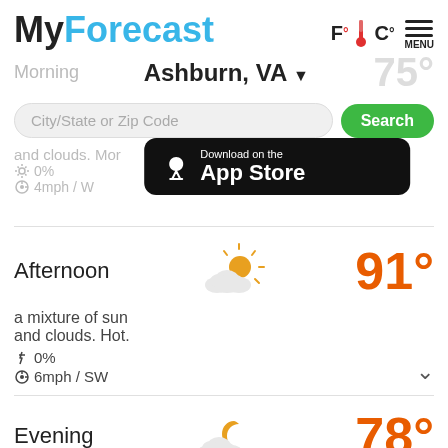MyForecast
Ashburn, VA
City/State or Zip Code Search
[Figure (screenshot): Download on the App Store badge]
Morning
and clouds. Mor
0%
4mph / W
Afternoon
91°
a mixture of sun and clouds. Hot.
0%
6mph / SW
Evening
78°